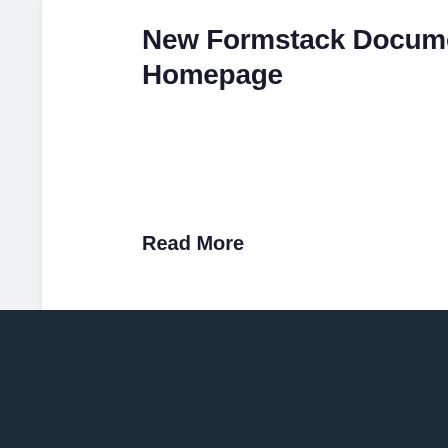New Formstack Documents Homepage
Read More
Reima… Manu…
Read
[Figure (logo): Formstack logo with green icon and white wordmark]
Formstack's workplace productivity platform helps over 25,000+ organizations digitizing what matter…